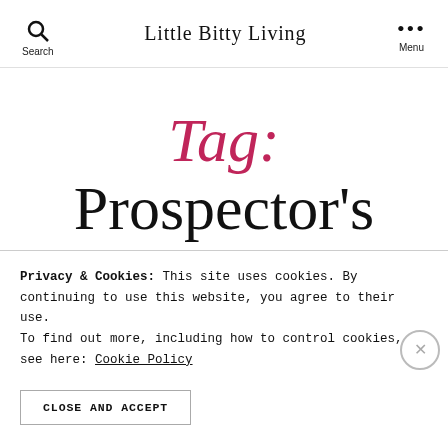Little Bitty Living
Tag: Prospector's Paradise
Privacy & Cookies: This site uses cookies. By continuing to use this website, you agree to their use.
To find out more, including how to control cookies, see here: Cookie Policy
CLOSE AND ACCEPT